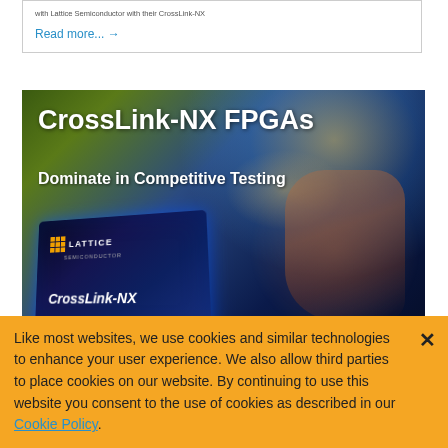Read more... →
[Figure (photo): Lattice Semiconductor CrossLink-NX FPGA advertisement showing a dark blue circuit board chip with the Lattice Semiconductor logo and 'CrossLink-NX' text, with a hand touching a glowing point, and overlay text 'CrossLink-NX FPGAs Dominate in Competitive Testing']
Like most websites, we use cookies and similar technologies to enhance your user experience. We also allow third parties to place cookies on our website. By continuing to use this website you consent to the use of cookies as described in our Cookie Policy.